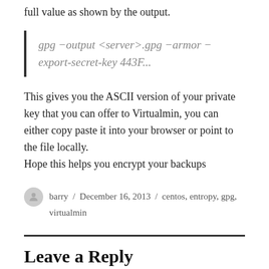full value as shown by the output.
This gives you the ASCII version of your private key that you can offer to Virtualmin, you can either copy paste it into your browser or point to the file locally.
Hope this helps you encrypt your backups
barry / December 16, 2013 / centos, entropy, gpg, virtualmin
Leave a Reply